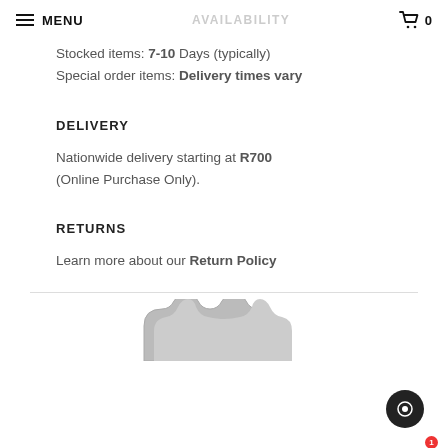MENU  AVAILABILITY  0
Stocked items: 7-10 Days (typically)
Special order items: Delivery times vary
DELIVERY
Nationwide delivery starting at R700 (Online Purchase Only).
RETURNS
Learn more about our Return Policy
[Figure (photo): Partial view of a grey/beige product (appears to be a tool or bracket) shown from below, cropped at the bottom of the page.]